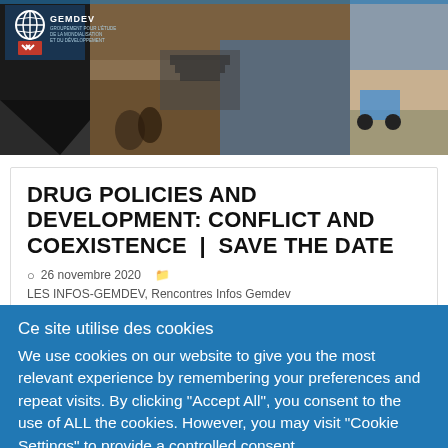[Figure (photo): GEMDEV website header banner showing collage of photos: people mining, market scene, motorcyclists on street, and dry landscape. GEMDEV logo with globe icon top-left.]
DRUG POLICIES AND DEVELOPMENT: CONFLICT AND COEXISTENCE | SAVE THE DATE
26 novembre 2020  LES INFOS-GEMDEV, Rencontres Infos Gemdev
Ce site utilise des cookies
We use cookies on our website to give you the most relevant experience by remembering your preferences and repeat visits. By clicking "Accept All", you consent to the use of ALL the cookies. However, you may visit "Cookie Settings" to provide a controlled consent.